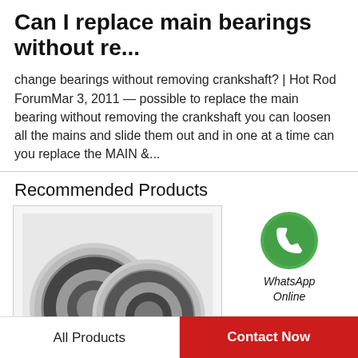Can I replace main bearings without re...
change bearings without removing crankshaft? | Hot Rod ForumMar 3, 2011 — possible to replace the main bearing without removing the crankshaft you can loosen all the mains and slide them out and in one at a time can you replace the MAIN &...
Recommended Products
[Figure (photo): Two sealed ball bearings (cylindrical, black rubber seals) on white background]
[Figure (logo): WhatsApp green circular icon with phone handset]
[Figure (photo): Two thrust ball bearing rings with ball bearings, metallic/silver, on white background]
All Products
Contact Now